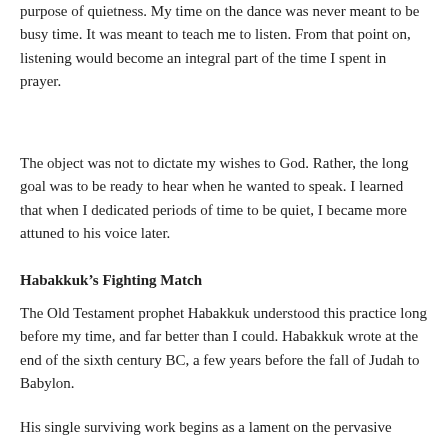purpose of quietness. My time on the dance was never meant to be busy time. It was meant to teach me to listen. From that point on, listening would become an integral part of the time I spent in prayer.
The object was not to dictate my wishes to God. Rather, the long goal was to be ready to hear when he wanted to speak. I learned that when I dedicated periods of time to be quiet, I became more attuned to his voice later.
Habakkuk’s Fighting Match
The Old Testament prophet Habakkuk understood this practice long before my time, and far better than I could. Habakkuk wrote at the end of the sixth century BC, a few years before the fall of Judah to Babylon.
His single surviving work begins as a lament on the pervasive